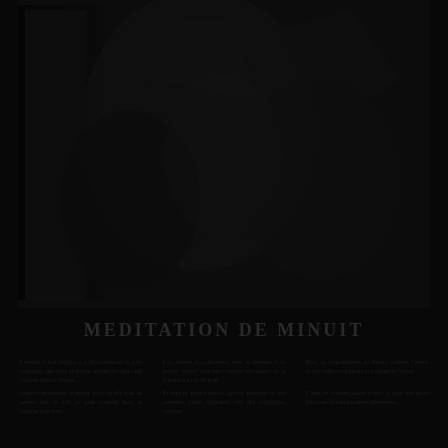[Figure (photo): Very dark, nearly black photographic image showing indistinct figures or objects, extremely low contrast against a dark background]
MEDITATION DE MINUIT
Dark body text in multiple columns, text is largely illegible due to extremely low contrast against dark background